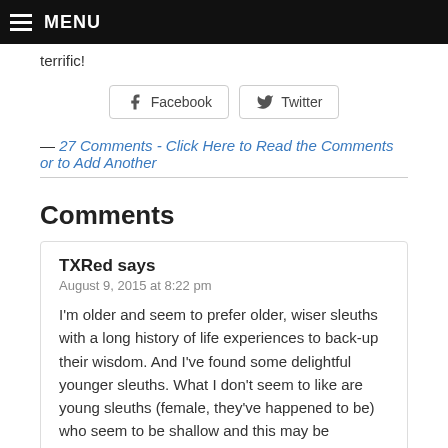MENU
terrific!
Facebook   Twitter
— 27 Comments - Click Here to Read the Comments or to Add Another
Comments
TXRed says
August 9, 2015 at 8:22 pm
I'm older and seem to prefer older, wiser sleuths with a long history of life experiences to back-up their wisdom. And I've found some delightful younger sleuths. What I don't seem to like are young sleuths (female, they've happened to be) who seem to be shallow and this may be because their creator hasn't fully developed their character well. They seem to